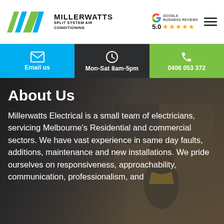[Figure (logo): Millerwatts logo with green and teal wave/chevron mark and company name]
[Figure (infographic): Google Business Reviews badge showing 5.0 rating with 5 gold stars]
Email us
Mon-Sat 8am-5pm
0406 053 372
About Us
Millerwatts Electrical is a small team of electricians, servicing Melbourne's Residential and commercial sectors. We have vast experience in same day faults, additions, maintenance and new installations. We pride ourselves on responsiveness, approachability, communication, professionalism, and